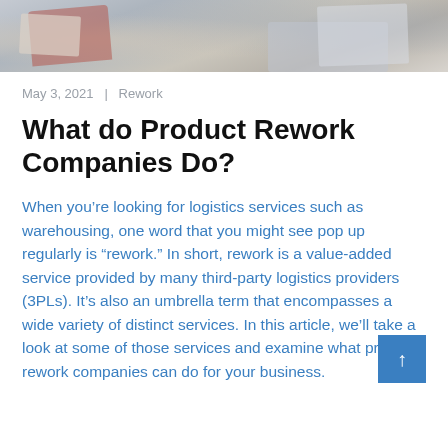[Figure (photo): Photo of a person handling packages or logistics-related items, cropped at top of page]
May 3, 2021  |  Rework
What do Product Rework Companies Do?
When you're looking for logistics services such as warehousing, one word that you might see pop up regularly is “rework.” In short, rework is a value-added service provided by many third-party logistics providers (3PLs). It’s also an umbrella term that encompasses a wide variety of distinct services. In this article, we’ll take a look at some of those services and examine what product rework companies can do for your business.